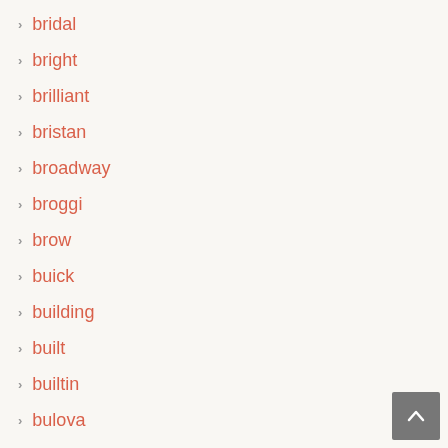bridal
bright
brilliant
bristan
broadway
broggi
brow
buick
building
built
builtin
bulova
bunn